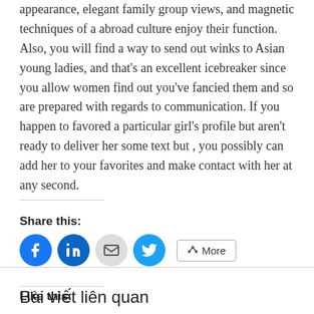appearance, elegant family group views, and magnetic techniques of a abroad culture enjoy their function. Also, you will find a way to send out winks to Asian young ladies, and that's an excellent icebreaker since you allow women find out you've fancied them and so are prepared with regards to communication. If you happen to favored a particular girl's profile but aren't ready to deliver her some text but , you possibly can add her to your favorites and make contact with her at any second.
Share this:
[Figure (infographic): Social share buttons: Facebook (blue circle), LinkedIn (blue circle), Email (gray circle), Twitter (blue circle), and a More button with share icon]
Like this:
Loading...
Bài viết liên quan